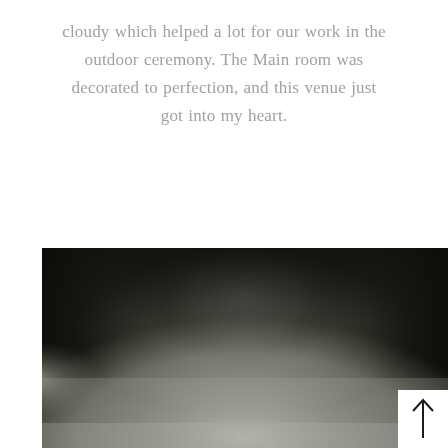cloudy which helped a lot for our work in the outdoor ceremony. The Main room was decorated to perfection, and this venue just got into my heart.
[Figure (photo): A dark, atmospheric photograph showing a softly lit rounded shape or structure against a very dark background, with mist or fog at the bottom. A white box with an upward arrow (back-to-top button) appears in the lower right corner.]